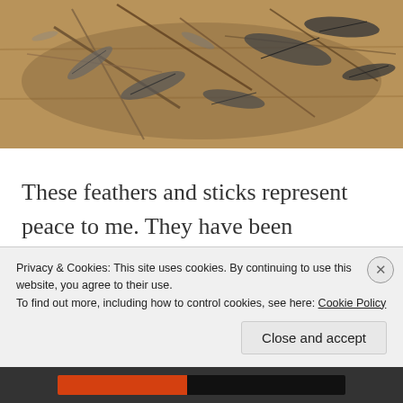[Figure (photo): Photo of feathers and sticks arranged on a wooden plank background. Various grey and dark feathers along with twigs are spread across a warm brown wooden surface.]
These feathers and sticks represent peace to me. They have been collected over many, many walks, during which I always feel at peace. I walk in a lovely garden where there are few people (especially during the colder
Privacy & Cookies: This site uses cookies. By continuing to use this website, you agree to their use.
To find out more, including how to control cookies, see here: Cookie Policy
Close and accept